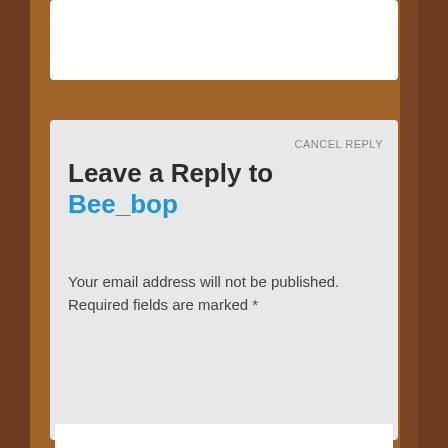[Figure (screenshot): Partial view of a web page comment form with brown sidebar background. Top white card partially visible. Gray card below with 'CANCEL REPLY' link, 'Leave a Reply to Bee_bop' heading, required fields notice, and a Comment text area field.]
CANCEL REPLY
Leave a Reply to Bee_bop
Your email address will not be published. Required fields are marked *
Comment